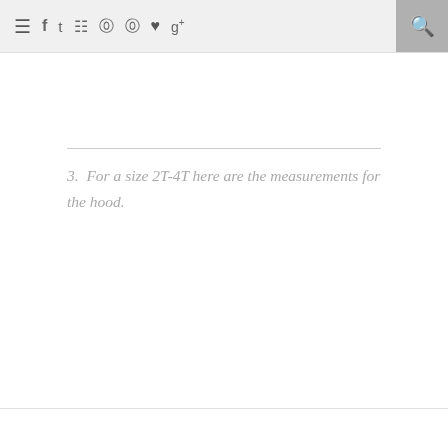≡  f  t  ☷  ⊕  ⊕  ♥  g+  🔍
3.  For a size 2T-4T here are the measurements for the hood.